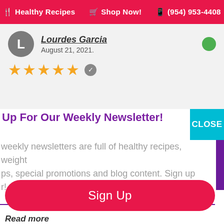🍴 Healthy Recipes   🛒 Shop Now!   📱 (954) 953-4408
[Figure (screenshot): Review card with avatar 'L', reviewer name, date August 21, 2021, five gold stars and verified badge]
Up For Our Weekly Newsletter!
weekly newsletters are full of healthy recipes, weight ps, special promotions and blog content. Sign up r!
Sign Up
Read more